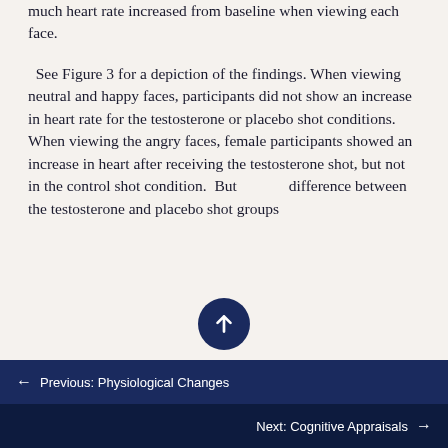much heart rate increased from baseline when viewing each face.
See Figure 3 for a depiction of the findings. When viewing neutral and happy faces, participants did not show an increase in heart rate for the testosterone or placebo shot conditions. When viewing the angry faces, female participants showed an increase in heart after receiving the testosterone shot, but not in the control shot condition.  But difference between the testosterone and placebo shot groups
Previous: Physiological Changes
Next: Cognitive Appraisals